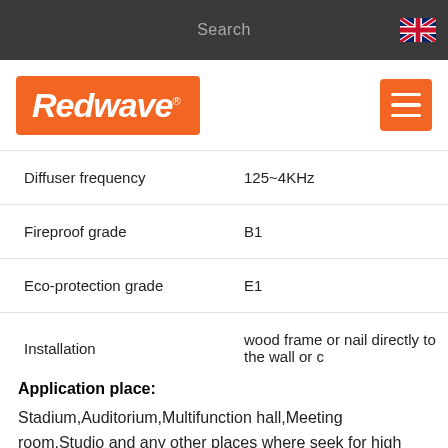Search
[Figure (logo): Redwave brand logo in orange box, and hamburger menu button in orange]
| Property | Value |
| --- | --- |
| Diffuser frequency | 125~4KHz |
| Fireproof grade | B1 |
| Eco-protection grade | E1 |
| Installation | wood frame or nail directly to the wall or c |
Application place:
Stadium,Auditorium,Multifunction hall,Meeting room,Studio and any other places where seek for high acoustic requirements.